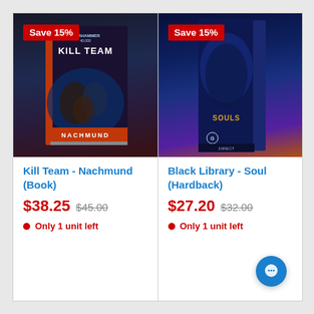[Figure (other): Product card: Warhammer Kill Team Nachmund book cover showing warriors in combat with red/blue color scheme and text NACHMUND at bottom]
Save 15%
Kill Team - Nachmund (Book)
$38.25  $45.00
Only 1 unit left
[Figure (other): Product card: Black Library Soulslayer hardback book in box with blue/purple fantasy art showing a female character and text SOULSLAYER along spine]
Save 15%
Black Library - Soul (Hardback)
$27.20  $32.00
Only 1 unit left